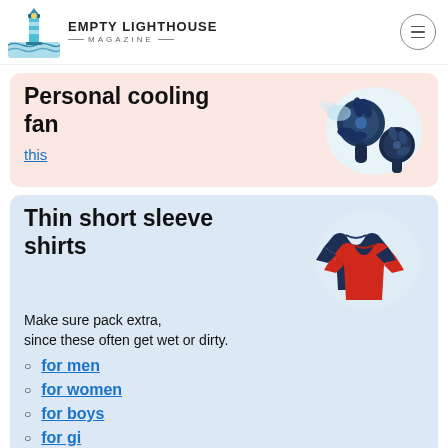EMPTY LIGHTHOUSE MAGAZINE
Personal cooling fan
this
[Figure (photo): Personal cooling fan product photo showing two handheld mini fans]
Thin short sleeve shirts
Make sure pack extra, since these often get wet or dirty.
for men
for women
for boys
for girls (truncated)
[Figure (photo): Two t-shirts (navy blue and red) on a white circular background]